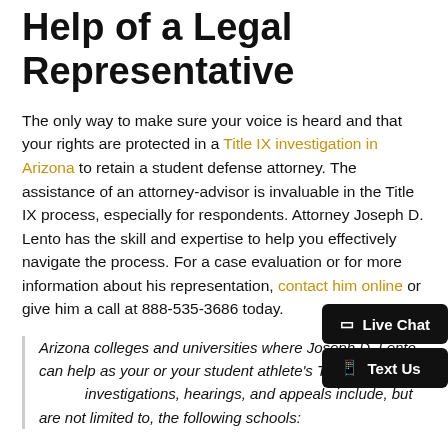Help of a Legal Representative
The only way to make sure your voice is heard and that your rights are protected in a Title IX investigation in Arizona to retain a student defense attorney. The assistance of an attorney-advisor is invaluable in the Title IX process, especially for respondents. Attorney Joseph D. Lento has the skill and expertise to help you effectively navigate the process. For a case evaluation or for more information about his representation, contact him online or give him a call at 888-535-3686 today.
Arizona colleges and universities where Joseph D. Lento can help as your or your student athlete's Title IX advisor during investigations, hearings, and appeals include, but are not limited to, the following schools: